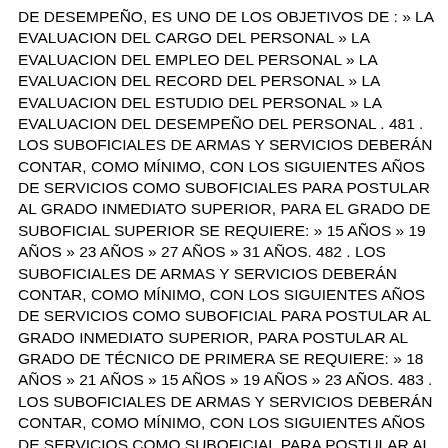DE DESEMPEÑO, ES UNO DE LOS OBJETIVOS DE : » LA EVALUACION DEL CARGO DEL PERSONAL » LA EVALUACION DEL EMPLEO DEL PERSONAL » LA EVALUACION DEL RECORD DEL PERSONAL » LA EVALUACION DEL ESTUDIO DEL PERSONAL » LA EVALUACION DEL DESEMPEÑO DEL PERSONAL . 481 . LOS SUBOFICIALES DE ARMAS Y SERVICIOS DEBERÁN CONTAR, COMO MÍNIMO, CON LOS SIGUIENTES AÑOS DE SERVICIOS COMO SUBOFICIALES PARA POSTULAR AL GRADO INMEDIATO SUPERIOR, PARA EL GRADO DE SUBOFICIAL SUPERIOR SE REQUIERE: » 15 AÑOS » 19 AÑOS » 23 AÑOS » 27 AÑOS » 31 AÑOS. 482 . LOS SUBOFICIALES DE ARMAS Y SERVICIOS DEBERÁN CONTAR, COMO MÍNIMO, CON LOS SIGUIENTES AÑOS DE SERVICIOS COMO SUBOFICIAL PARA POSTULAR AL GRADO INMEDIATO SUPERIOR, PARA POSTULAR AL GRADO DE TÉCNICO DE PRIMERA SE REQUIERE: » 18 AÑOS » 21 AÑOS » 15 AÑOS » 19 AÑOS » 23 AÑOS. 483 . LOS SUBOFICIALES DE ARMAS Y SERVICIOS DEBERÁN CONTAR, COMO MÍNIMO, CON LOS SIGUIENTES AÑOS DE SERVICIOS COMO SUBOFICIAL PARA POSTULAR AL GRADO